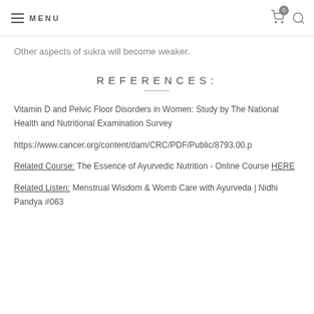MENU
Other aspects of sukra will become weaker.
REFERENCES:
Vitamin D and Pelvic Floor Disorders in Women: Study by The National Health and Nutritional Examination Survey
https://www.cancer.org/content/dam/CRC/PDF/Public/8793.00.p
Related Course: The Essence of Ayurvedic Nutrition - Online Course HERE
Related Listen: Menstrual Wisdom & Womb Care with Ayurveda | Nidhi Pandya #063